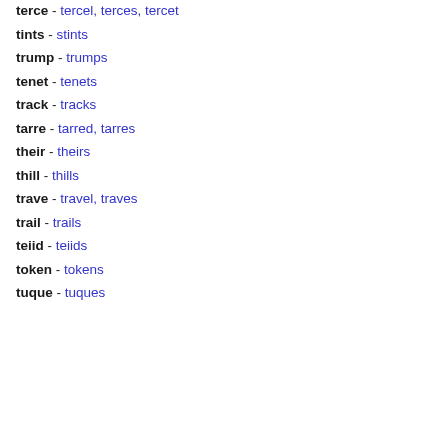terce - tercel, terces, tercet
tints - stints
trump - trumps
tenet - tenets
track - tracks
tarre - tarred, tarres
their - theirs
thill - thills
trave - travel, traves
trail - trails
teiid - teiids
token - tokens
tuque - tuques